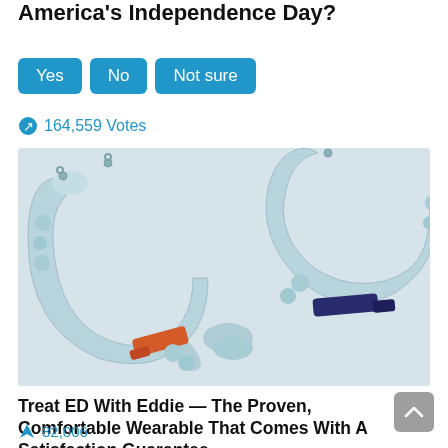America's Independence Day?
Yes
No
Not sure
164,559 Votes
[Figure (photo): Product photo of two light blue horseshoe-shaped wearable devices with orange and navy blue straps/clasps, displayed on a light gray surface]
Treat ED With Eddie — The Proven, Comfortable Wearable That Comes With A Satisfaction Guarantee
82,006